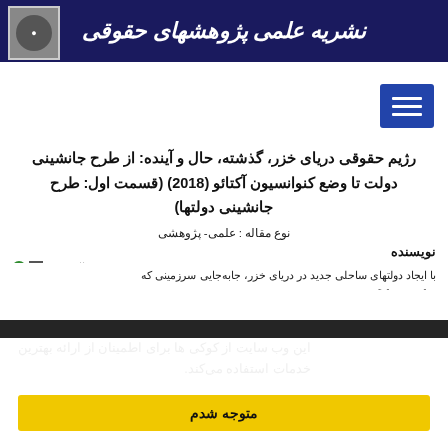نشریه علمی پژوهشهای حقوقی
رژیم حقوقی دریای خزر، گذشته، حال و آینده: از طرح جانشینی دولت تا وضع کنوانسیون آکتائو (2018) (قسمت اول: طرح جانشینی دولتها)
نوع مقاله : علمی- پژوهشی
نویسنده
سید جواد سیف
بهشتی، تهران،
این وب سایت از کوکی ها برای اطمینان از ارائه بهترین خدمات استفاده می‌کند.
متوجه شدم
با ایجاد دولتهای ساحلی جدید در دریای خزر، جابه‌جایی سرزمینی که